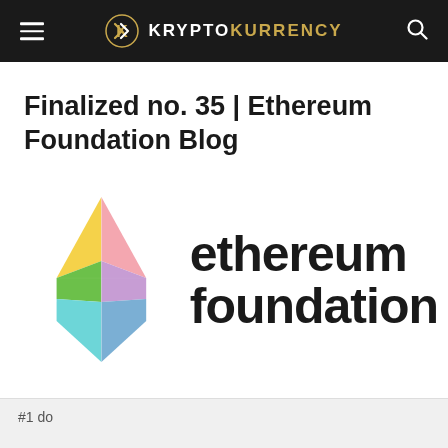KRYPTOKURRENCY
Finalized no. 35 | Ethereum Foundation Blog
[Figure (logo): Ethereum Foundation logo — a colorful diamond/crystal geometric Ethereum symbol on the left, with text 'ethereum foundation' in bold dark sans-serif on the right]
#1 do